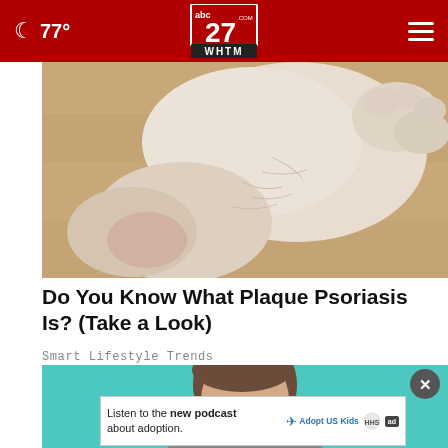77° | abc27.com WHTM
[Figure (photo): Close-up photograph of a human foot/ankle showing dry, cracked skin on a wooden floor background]
Do You Know What Plaque Psoriasis Is? (Take a Look)
Smart Lifestyle Trends
[Figure (photo): Partial view of a person with brown hair against a teal/turquoise background, with an advertisement overlay banner at the bottom reading 'Listen to the new podcast about adoption.' with Adopt US Kids and HHS logos]